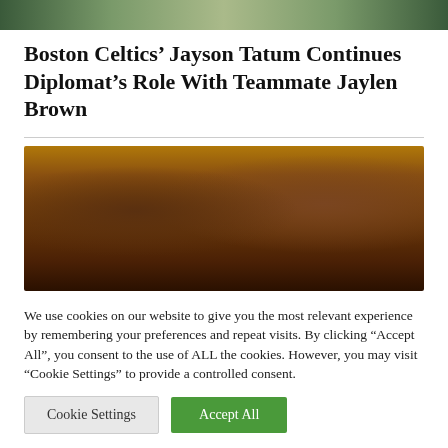[Figure (photo): Top banner photo showing basketball players in green Celtics uniforms, cropped close]
Boston Celtics' Jayson Tatum Continues Diplomat's Role With Teammate Jaylen Brown
[Figure (photo): Close-up photo of two men's faces (basketball players), looking upward, dark background]
We use cookies on our website to give you the most relevant experience by remembering your preferences and repeat visits. By clicking “Accept All”, you consent to the use of ALL the cookies. However, you may visit “Cookie Settings” to provide a controlled consent.
Cookie Settings   Accept All